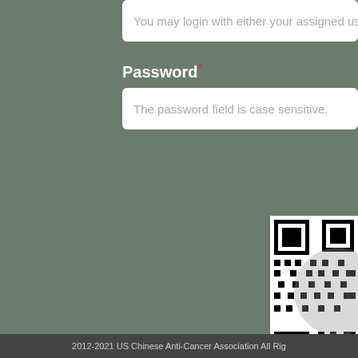You may login with either your assigned username or yo
Password *
The password field is case sensitive.
[Figure (other): Partial QR code visible in the bottom-right corner of the page]
2012-2021 US Chinese Anti-Cancer Association All Rig